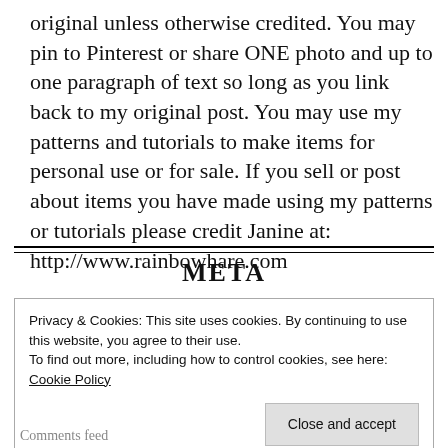original unless otherwise credited. You may pin to Pinterest or share ONE photo and up to one paragraph of text so long as you link back to my original post. You may use my patterns and tutorials to make items for personal use or for sale. If you sell or post about items you have made using my patterns or tutorials please credit Janine at: http://www.rainbowhare.com
META
Privacy & Cookies: This site uses cookies. By continuing to use this website, you agree to their use.
To find out more, including how to control cookies, see here: Cookie Policy
Close and accept
Comments feed